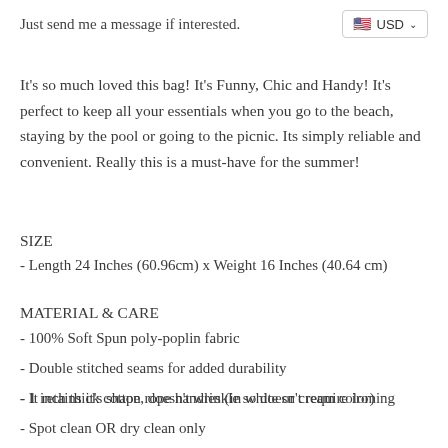Just send me a message if interested.
It's so much loved this bag! It's Funny, Chic and Handy! It's perfect to keep all your essentials when you go to the beach, staying by the pool or going to the picnic. Its simply reliable and convenient. Really this is a must-have for the summer!
SIZE
- Length 24 Inches (60.96cm) x Weight 16 Inches (40.64 cm)
MATERIAL & CARE
- 100% Soft Spun poly-poplin fabric
- Double stitched seams for added durability
- 1 inch thick cotton rope handles (in white or cream color)
- It retains it's shape, doesn't wrinkle so doesn't require ironing
- Spot clean OR dry clean only